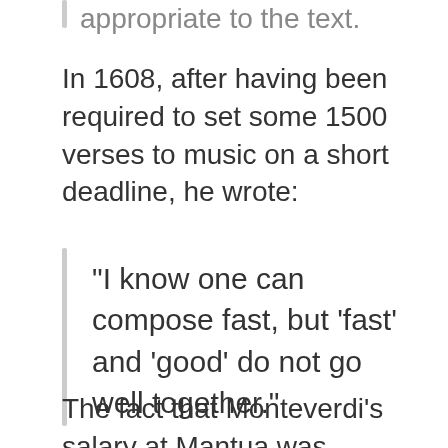appropriate to the text.
In 1608, after having been required to set some 1500 verses to music on a short deadline, he wrote:
“I know one can compose fast, but ‘fast’ and ‘good’ do not go well together.”
The fact that Monteverdi’s salary at Mantua was disproportionately low